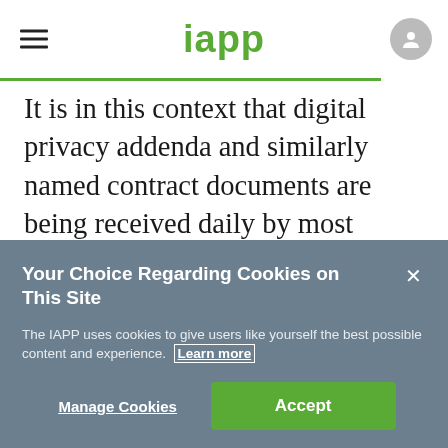iapp
It is in this context that digital privacy addenda and similarly named contract documents are being received daily by most companies from vendors, customers and others whose own inside or outside counsel have devised contract forms
Your Choice Regarding Cookies on This Site
The IAPP uses cookies to give users like yourself the best possible content and experience. Learn more
Manage Cookies   Accept